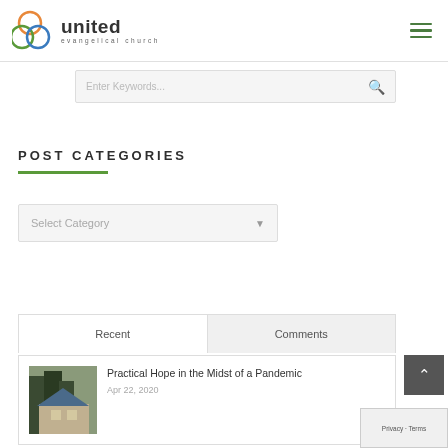[Figure (logo): United Evangelical Church logo with three interlocking colored circles (orange, green, blue) and text 'united evangelical church']
[Figure (other): Hamburger menu icon with three green horizontal lines]
Enter Keywords...
POST CATEGORIES
Select Category
Recent
Comments
Practical Hope in the Midst of a Pandemic
[Figure (photo): Thumbnail photo of a house with trees and blue roof]